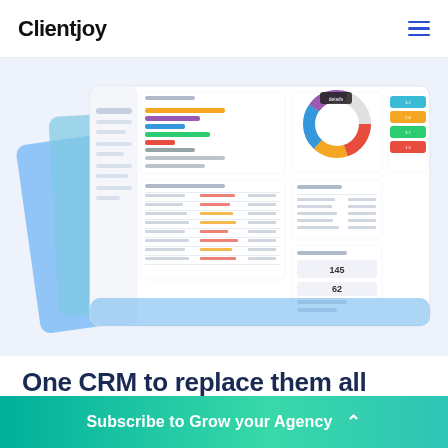Clientjoy
[Figure (screenshot): Multiple overlapping CRM dashboard screens showing pipeline charts, donut chart, and data tables with blue background accents]
One CRM to replace them all
Subscribe to Grow your Agency